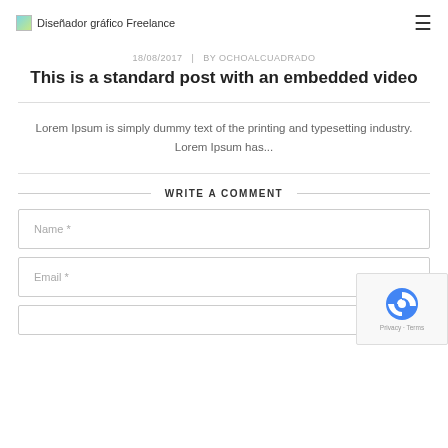Diseñador gráfico Freelance
18/08/2017  |  BY OCHOALCUADRADO
This is a standard post with an embedded video
Lorem Ipsum is simply dummy text of the printing and typesetting industry. Lorem Ipsum has...
WRITE A COMMENT
Name *
Email *